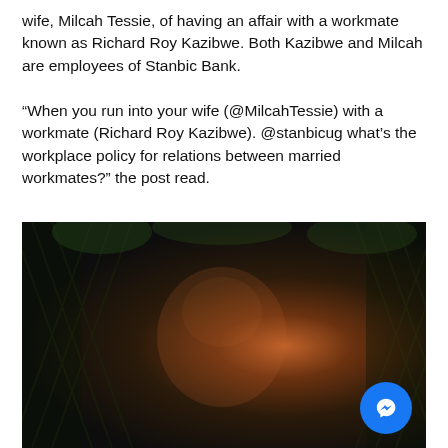wife, Milcah Tessie, of having an affair with a workmate known as Richard Roy Kazibwe. Both Kazibwe and Milcah are employees of Stanbic Bank.

“When you run into your wife (@MilcahTessie) with a workmate (Richard Roy Kazibwe). @stanbicug what’s the workplace policy for relations between married workmates?” the post read.
[Figure (photo): A man with dark skin smiling at the camera, seated in front of a dark lattice/trellis fence with green foliage in the background. The photo has warm orange-brown lighting on the subject's face. A Facebook Messenger button icon is visible in the bottom-right corner of the image.]